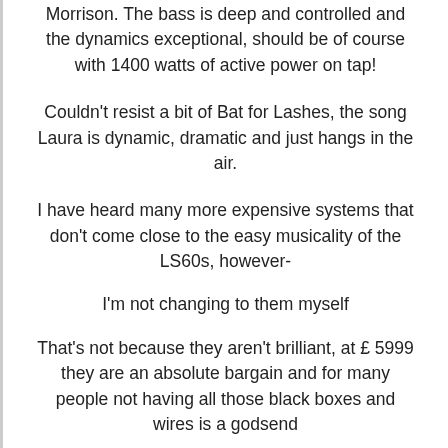Morrison. The bass is deep and controlled and the dynamics exceptional, should be of course with 1400 watts of active power on tap!
Couldn't resist a bit of Bat for Lashes, the song Laura is dynamic, dramatic and just hangs in the air.
I have heard many more expensive systems that don't come close to the easy musicality of the LS60s, however-
I'm not changing to them myself
That's not because they aren't brilliant, at £ 5999 they are an absolute bargain and for many people not having all those black boxes and wires is a godsend
Hifi separates go higher still and I love my